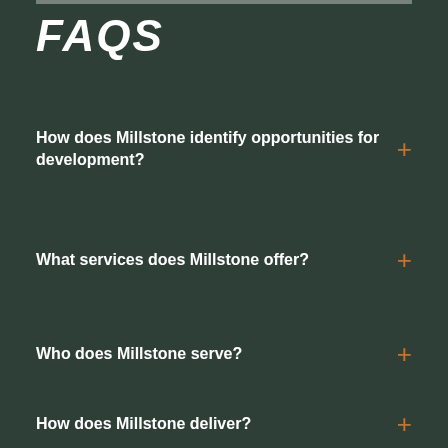FAQS
How does Millstone identify opportunities for development?
What services does Millstone offer?
Who does Millstone serve?
How does Millstone deliver?